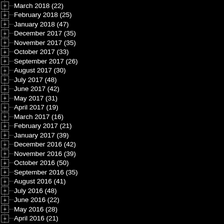March 2018 (22)
February 2018 (25)
January 2018 (47)
December 2017 (35)
November 2017 (35)
October 2017 (33)
September 2017 (26)
August 2017 (30)
July 2017 (48)
June 2017 (42)
May 2017 (31)
April 2017 (19)
March 2017 (16)
February 2017 (21)
January 2017 (39)
December 2016 (42)
November 2016 (39)
October 2016 (50)
September 2016 (35)
August 2016 (41)
July 2016 (48)
June 2016 (22)
May 2016 (28)
April 2016 (21)